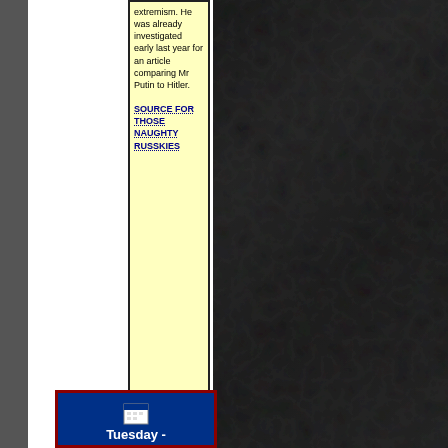extremism. He was already investigated early last year for an article comparing Mr Putin to Hitler.
SOURCE FOR THOSE NAUGHTY RUSSKIES
[Figure (illustration): Cartoon character illustration of an angry-looking chipmunk or squirrel character]
Posted by peiper on 07/22/2009 at 05:03 AM Filed Under: • Commies • Scary Stuff • Tyrants and Dictators • • Comments (0) • Trackbacks(0) Permalink •
[Figure (illustration): Calendar widget showing Tuesday with a calendar icon and dark blue background with red border]